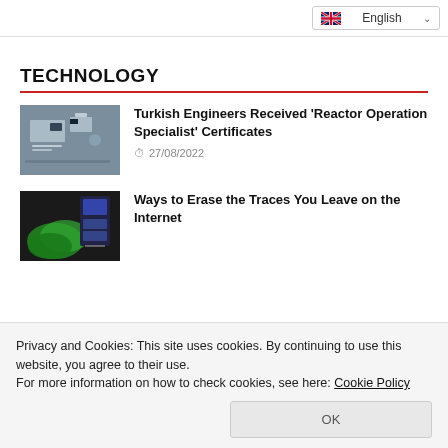English
TECHNOLOGY
[Figure (photo): Person working at a control panel with multiple monitors]
Turkish Engineers Received 'Reactor Operation Specialist' Certificates
27/08/2022
[Figure (photo): Green cables or wires on a dark background]
Ways to Erase the Traces You Leave on the Internet
Privacy and Cookies: This site uses cookies. By continuing to use this website, you agree to their use.
For more information on how to check cookies, see here: Cookie Policy